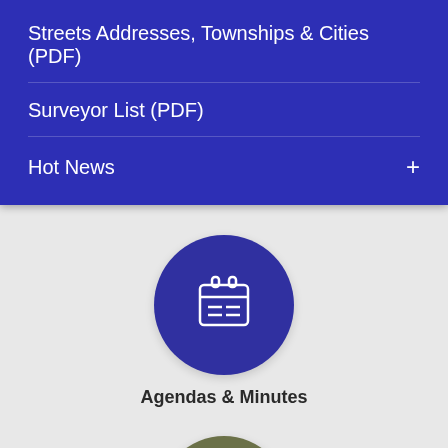Streets Addresses, Townships & Cities (PDF)
Surveyor List (PDF)
Hot News
[Figure (illustration): Dark blue circle icon containing a white calendar icon with two tab clips at top and horizontal lines representing dates]
Agendas & Minutes
[Figure (illustration): Olive/dark green circle icon partially visible at bottom containing a white briefcase/work bag icon]